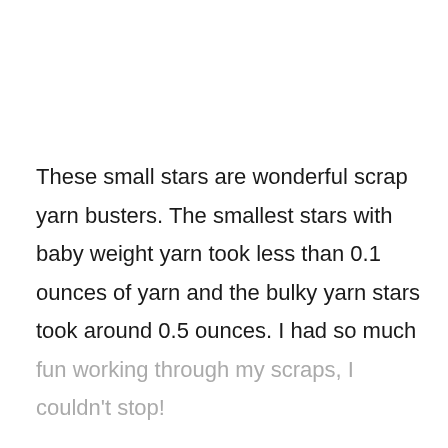These small stars are wonderful scrap yarn busters. The smallest stars with baby weight yarn took less than 0.1 ounces of yarn and the bulky yarn stars took around 0.5 ounces. I had so much fun working through my scraps, I couldn't stop!